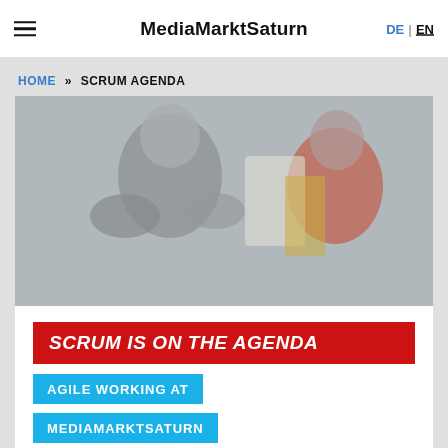MediaMarktSaturn
HOME » SCRUM AGENDA
[Figure (photo): Blurred photo of two people in a store/office environment, one in grey and one in red/orange clothing]
SCRUM IS ON THE AGENDA
AGILE WORKING AT MEDIAMARKTSATURN